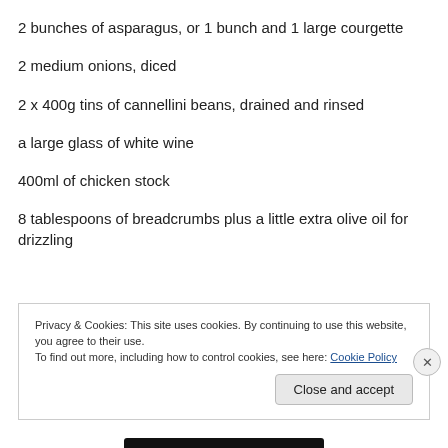2 bunches of asparagus, or 1 bunch and 1 large courgette
2 medium onions, diced
2 x 400g tins of cannellini beans, drained and rinsed
a large glass of white wine
400ml of chicken stock
8 tablespoons of breadcrumbs plus a little extra olive oil for drizzling
Privacy & Cookies: This site uses cookies. By continuing to use this website, you agree to their use.
To find out more, including how to control cookies, see here: Cookie Policy